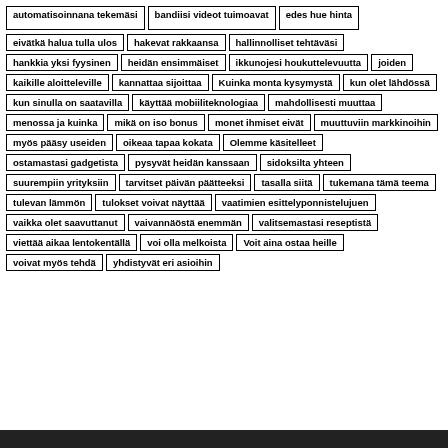automatisoinnana tekemäsi
bandiisi videot tuimoavat
edes hue hinta
eivätkä halua tulla ulos
hakevat rakkaansa
hallinnolliset tehtäväsi
hankkia yksi fyysinen
heidän ensimmäiset
ikkunojesi houkuttelevuutta
joiden
kaikille aloitteleville
kannattaa sijoittaa
Kuinka monta kysymystä
kun olet lähdössä
kun sinulla on saatavilla
käyttää mobiiliteknologiaa
mahdollisesti muuttaa
menossa ja kuinka
mikä on iso bonus
monet ihmiset eivät
muuttuviin markkinoihin
myös pääsy useiden
oikeaa tapaa kokata
Olemme käsitelleet
ostamastasi gadgetista
pysyvät heidän kanssaan
sidoksilta yhteen
suurempiin yrityksiin
tarvitset päivän päätteeksi
tasalla siitä
tukemana tämä teema
tulevan lämmön
tulokset voivat näyttää
vaatimien esittelyponnistelujuen
vaikka olet saavuttanut
vaivannäöstä enemmän
valitsemastasi reseptistä
viettää aikaa lentokentällä
voi olla melkoista
Voit aina ostaa heille
voivat myös tehdä
yhdistyvät eri asioihin